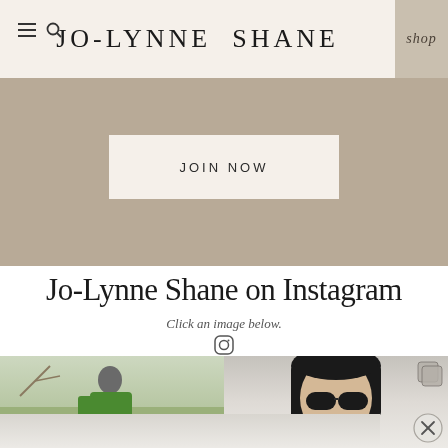JO-LYNNE SHANE
shop
[Figure (screenshot): Beige/tan hero banner section with a 'JOIN NOW' button in a cream rectangle]
Jo-Lynne Shane on Instagram
Click an image below.
FOLLOW @JOLYNNESHANE
[Figure (photo): Two Instagram photos side by side: left shows a woman in a green jacket outdoors; right shows a woman with dark hair and sunglasses. A copy icon is visible in the top-right of the right photo.]
[Figure (photo): Partial view of a third Instagram photo at the bottom, showing a light-colored scene. A circular X/close button overlay is visible at the bottom right.]